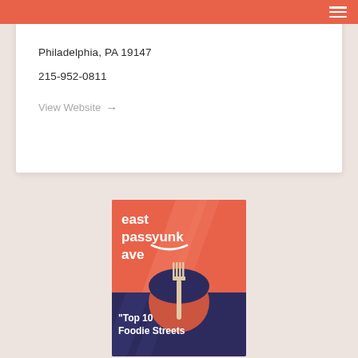Philadelphia, PA 19147
215-952-0811
View Website →
more info
[Figure (logo): East Passyunk Ave advertisement banner with fork/spoon logo and text 'east passyunk ave' and '"Top 10 Foodie Streets"']